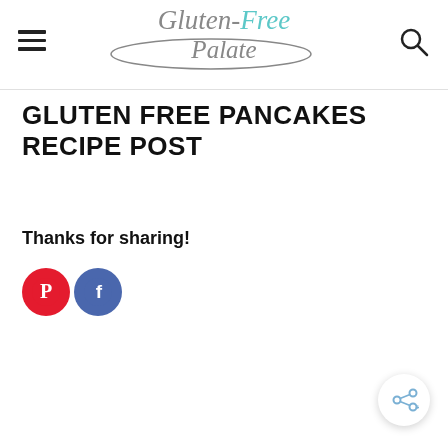Gluten-Free Palate (logo header with hamburger menu and search icon)
GLUTEN FREE PANCAKES RECIPE POST
Thanks for sharing!
[Figure (illustration): Pinterest and Facebook social sharing icon circles (Pinterest red circle with P logo, Facebook blue circle with f logo)]